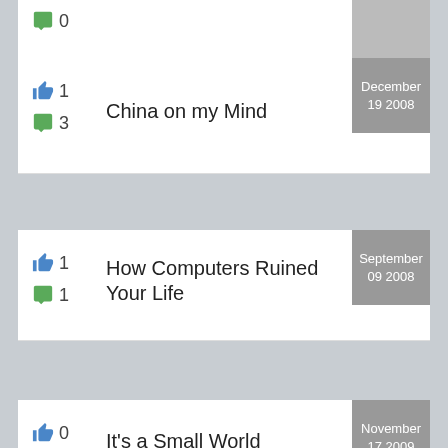0 likes, 0 comments (partial row at top)
China on my Mind — 1 like, 3 comments — December 19 2008
How Computers Ruined Your Life — 1 like, 1 comment — September 09 2008
It's a Small World — 0 likes, 0 comments — politics — November 17 2009
Recent Questions
Is It Possible to Manipulate The Output From A Maple Calculation Like T ext?